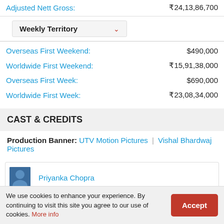Adjusted Nett Gross: ₹24,13,86,700
Weekly Territory (dropdown)
Overseas First Weekend: $490,000
Worldwide First Weekend: ₹15,91,38,000
Overseas First Week: $690,000
Worldwide First Week: ₹23,08,34,000
CAST & CREDITS
Production Banner: UTV Motion Pictures | Vishal Bhardwaj Pictures
Priyanka Chopra
We use cookies to enhance your experience. By continuing to visit this site you agree to our use of cookies. More info